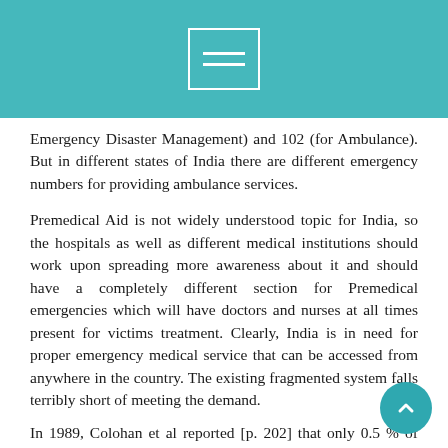Emergency Disaster Management) and 102 (for Ambulance). But in different states of India there are different emergency numbers for providing ambulance services.
Premedical Aid is not widely understood topic for India, so the hospitals as well as different medical institutions should work upon spreading more awareness about it and should have a completely different section for Premedical emergencies which will have doctors and nurses at all times present for victims treatment. Clearly, India is in need for proper emergency medical service that can be accessed from anywhere in the country. The existing fragmented system falls terribly short of meeting the demand.
In 1989, Colohan et al reported [p. 202] that only 0.5 % of head injury cases were transported by ambulances in New Delhi and no first aid was administered in 65 % of